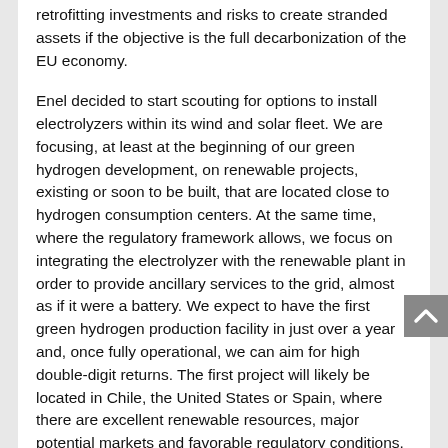retrofitting investments and risks to create stranded assets if the objective is the full decarbonization of the EU economy.
Enel decided to start scouting for options to install electrolyzers within its wind and solar fleet. We are focusing, at least at the beginning of our green hydrogen development, on renewable projects, existing or soon to be built, that are located close to hydrogen consumption centers. At the same time, where the regulatory framework allows, we focus on integrating the electrolyzer with the renewable plant in order to provide ancillary services to the grid, almost as if it were a battery. We expect to have the first green hydrogen production facility in just over a year and, once fully operational, we can aim for high double-digit returns. The first project will likely be located in Chile, the United States or Spain, where there are excellent renewable resources, major potential markets and favorable regulatory conditions.
“While volume growth will be crucial to keep pace with the